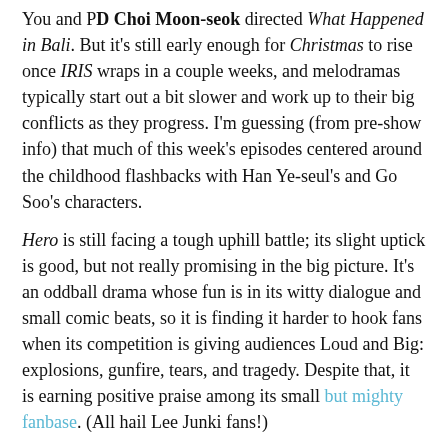You and PD Choi Moon-seok directed What Happened in Bali. But it's still early enough for Christmas to rise once IRIS wraps in a couple weeks, and melodramas typically start out a bit slower and work up to their big conflicts as they progress. I'm guessing (from pre-show info) that much of this week's episodes centered around the childhood flashbacks with Han Ye-seul's and Go Soo's characters.
Hero is still facing a tough uphill battle; its slight uptick is good, but not really promising in the big picture. It's an oddball drama whose fun is in its witty dialogue and small comic beats, so it is finding it harder to hook fans when its competition is giving audiences Loud and Big: explosions, gunfire, tears, and tragedy. Despite that, it is earning positive praise among its small but mighty fanbase. (All hail Lee Junki fans!)
Via BNT News